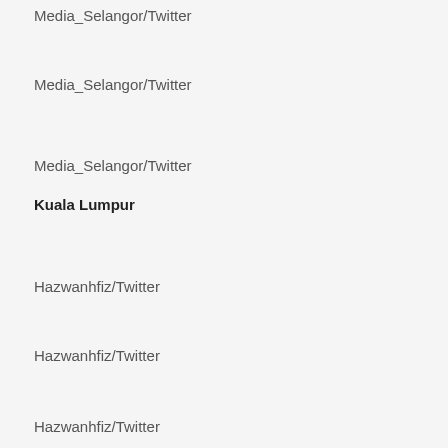Media_Selangor/Twitter
Media_Selangor/Twitter
Media_Selangor/Twitter
Kuala Lumpur
Hazwanhfiz/Twitter
Hazwanhfiz/Twitter
Hazwanhfiz/Twitter